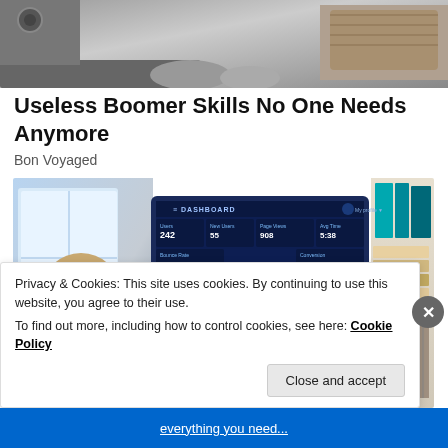[Figure (photo): Grayscale photo of a person in a kitchen setting, partially cropped at top]
Useless Boomer Skills No One Needs Anymore
Bon Voyaged
[Figure (photo): Person looking at a computer monitor displaying a blue dashboard interface with charts, maps, and statistics. Bookshelves visible on the right side.]
Privacy & Cookies: This site uses cookies. By continuing to use this website, you agree to their use.
To find out more, including how to control cookies, see here: Cookie Policy
Close and accept
everything you need...